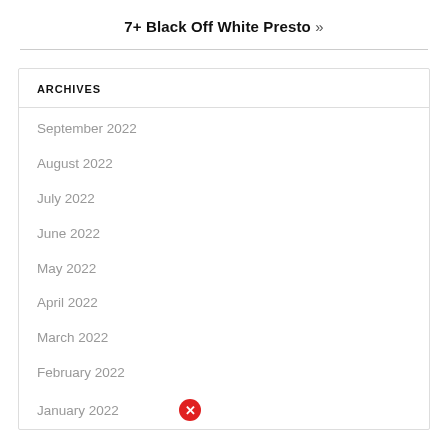7+ Black Off White Presto »
ARCHIVES
September 2022
August 2022
July 2022
June 2022
May 2022
April 2022
March 2022
February 2022
January 2022